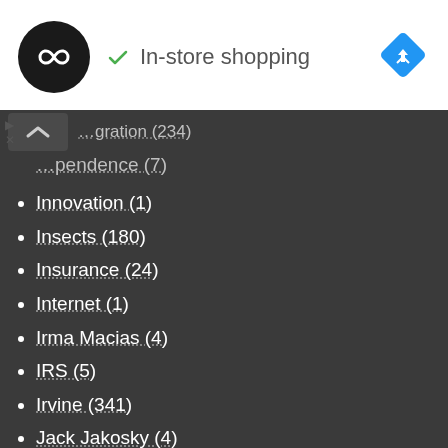[Figure (logo): Black circle logo with infinity/loop symbol in white, followed by green checkmark and text 'In-store shopping', and a blue diamond navigation icon on the right]
...gration (234)
...pendence (7)
Innovation (1)
Insects (180)
Insurance (24)
Internet (1)
Irma Macias (4)
IRS (5)
Irvine (341)
Jack Jakosky (4)
Jan Grimes (2)
Janelle Welker (7)
Janet Nguyen (137)
Japanese (15)
Jason Quinn (1)
Jeff Dickman (1)
Jeff Ferguson (1)
Jeff LeTourneau (2)